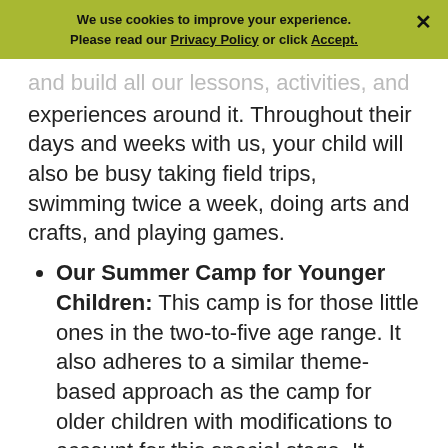We use cookies to improve your experience. Please read our Privacy Policy or click Accept.
and build all our lessons, activities, and experiences around it. Throughout their days and weeks with us, your child will also be busy taking field trips, swimming twice a week, doing arts and crafts, and playing games.
Our Summer Camp for Younger Children: This camp is for those little ones in the two-to-five age range. It also adheres to a similar theme-based approach as the camp for older children with modifications to account for this special stage. It features plenty of games, activities, lessons and on-site field trips.